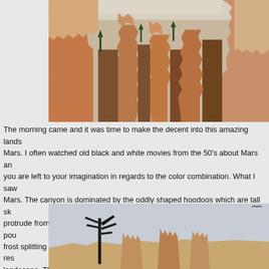[Figure (photo): Canyon landscape with tall orange-red hoodoo rock formations (Bryce Canyon) stretching into the distance, with pine trees visible between the spires, photographed from within the canyon looking up.]
The morning came and it was time to make the decent into this amazing landscape of Mars. I often watched old black and white movies from the 50's about Mars and you are left to your imagination in regards to the color combination. What I saw was Mars. The canyon is dominated by the oddly shaped hoodoos which are tall sk protrude from the bottom of arid basins. These spires were formed by rain pou frost splitting caused by snow and cold weather. After 10 million years, the res landscape. The trail we had embarked on was Navajo Loop combined with the
[Figure (photo): A bare dead tree silhouetted against a grey sky with hoodoo rock formations and spires visible in the background at Bryce Canyon.]